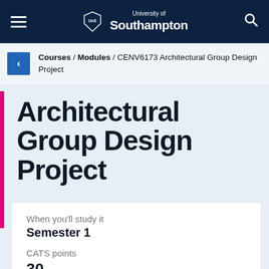University of Southampton
Courses / Modules / CENV6173 Architectural Group Design Project
Architectural Group Design Project
When you'll study it
Semester 1
CATS points
30